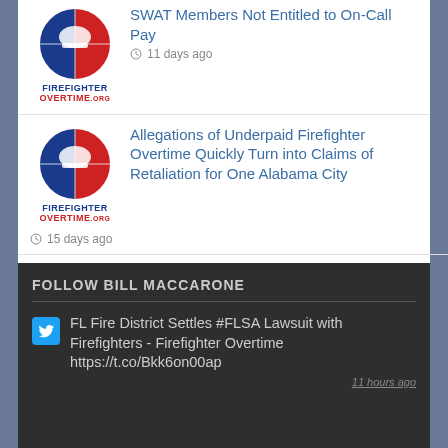SWAT Members Not Entitled to On-Call Pay — 11 days ago
Allegations of Underpaid Firefighter Overtime Quickly Turn into Claims of Retaliation for One Alabama City — 15 days ago
Four Florida Firefighters File FLSA Suit Against Town — 18 days ago
FOLLOW BILL MACCARONE
FL Fire District Settles #FLSA Lawsuit with Firefighters - Firefighter Overtime https://t.co/Bkk6on00ap
11 hours ago